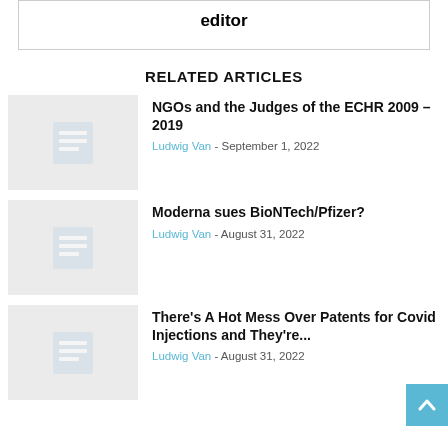editor
RELATED ARTICLES
NGOs and the Judges of the ECHR 2009 – 2019 | Ludwig Van - September 1, 2022
Moderna sues BioNTech/Pfizer? | Ludwig Van - August 31, 2022
There's A Hot Mess Over Patents for Covid Injections and They're... | Ludwig Van - August 31, 2022